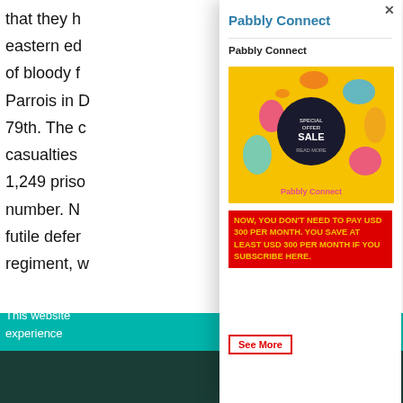that they h eastern ed of bloody f Parrois in D 79th. The c casualties 1,249 priso number. N futile defer regiment, w
This website experience
Pabbly Connect
Pabbly Connect
[Figure (illustration): Yellow background promotional image with colorful abstract shapes and a dark circle in the center showing 'SPECIAL OFFER SALE READ MORE'. Text 'Pabbly Connect' in pink at bottom.]
NOW, YOU DON'T NEED TO PAY USD 300 PER MONTH. YOU SAVE AT LEAST USD 300 PER MONTH IF YOU SUBSCRIBE HERE.
See More